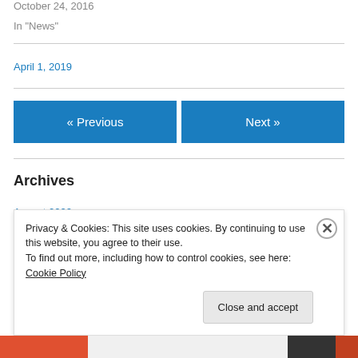October 24, 2016
In "News"
April 1, 2019
« Previous
Next »
Archives
Privacy & Cookies: This site uses cookies. By continuing to use this website, you agree to their use.
To find out more, including how to control cookies, see here: Cookie Policy
Close and accept